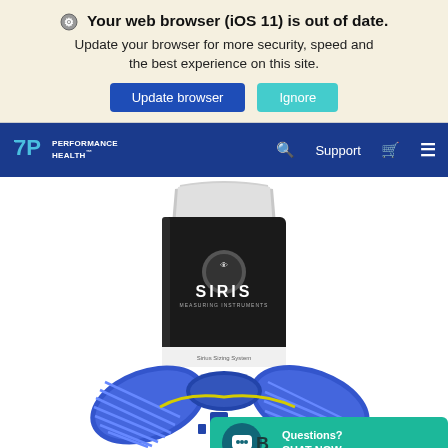⚙ Your web browser (iOS 11) is out of date. Update your browser for more security, speed and the best experience on this site.
Update browser | Ignore
[Figure (screenshot): Performance Health navigation bar with logo, search, Support, cart and hamburger menu icons on blue background]
[Figure (photo): Product photo showing a SIRIS brand booklet/manual and blue orthopedic splint components on white background]
Questions? CHAT NOW